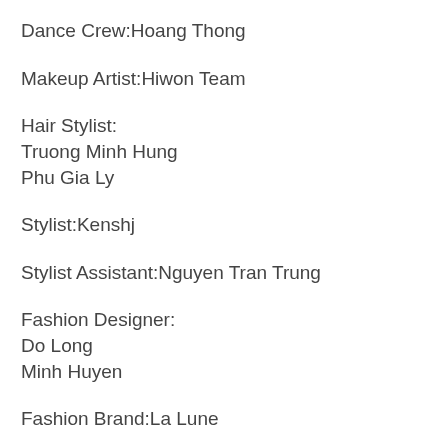Dance Crew:Hoang Thong
Makeup Artist:Hiwon Team
Hair Stylist:
Truong Minh Hung
Phu Gia Ly
Stylist:Kenshj
Stylist Assistant:Nguyen Tran Trung
Fashion Designer:
Do Long
Minh Huyen
Fashion Brand:La Lune